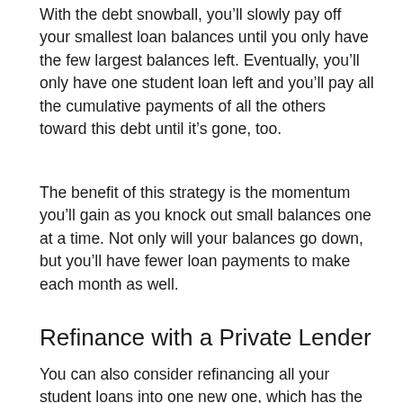With the debt snowball, you'll slowly pay off your smallest loan balances until you only have the few largest balances left. Eventually, you'll only have one student loan left and you'll pay all the cumulative payments of all the others toward this debt until it's gone, too.
The benefit of this strategy is the momentum you'll gain as you knock out small balances one at a time. Not only will your balances go down, but you'll have fewer loan payments to make each month as well.
Refinance with a Private Lender
You can also consider refinancing all your student loans into one new one, which has the potential to save you more money than any other strategy on this list. Many private student loan companies offer fixed interest rates as low as 3.50% right now, which is lower than any federal